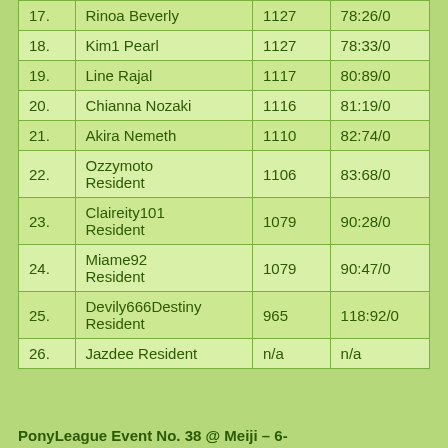| # | Name | Score | Time |
| --- | --- | --- | --- |
| 17. | Rinoa Beverly | 1127 | 78:26/0 |
| 18. | Kim1 Pearl | 1127 | 78:33/0 |
| 19. | Line Rajal | 1117 | 80:89/0 |
| 20. | Chianna Nozaki | 1116 | 81:19/0 |
| 21. | Akira Nemeth | 1110 | 82:74/0 |
| 22. | Ozzymoto Resident | 1106 | 83:68/0 |
| 23. | Claireity101 Resident | 1079 | 90:28/0 |
| 24. | Miame92 Resident | 1079 | 90:47/0 |
| 25. | Devily666Destiny Resident | 965 | 118:92/0 |
| 26. | Jazdee Resident | n/a | n/a |
PonyLeague Event No. 38 @ Meiji – 6-